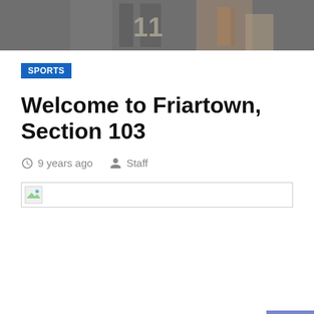[Figure (photo): Cropped photo of a person wearing a sports jersey, showing a partial number on the jersey. Dark/grey tones.]
SPORTS
Welcome to Friartown, Section 103
9 years ago   Staff
[Figure (other): Broken image placeholder icon with border]
[Figure (other): Back to top button with upward chevron arrow, blue/purple background]